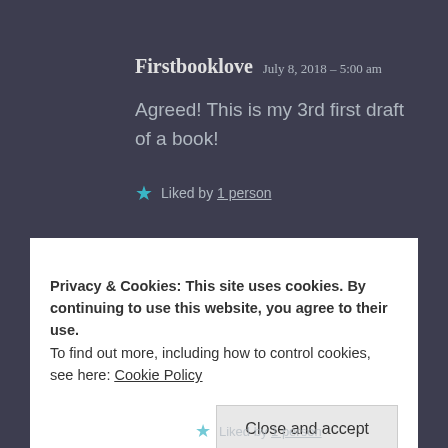Firstbooklove  July 8, 2018 – 5:00 am
Agreed! This is my 3rd first draft of a book!
★ Liked by 1 person
Privacy & Cookies: This site uses cookies. By continuing to use this website, you agree to their use.
To find out more, including how to control cookies, see here: Cookie Policy
Close and accept